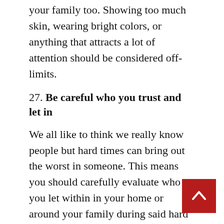your family too. Showing too much skin, wearing bright colors, or anything that attracts a lot of attention should be considered off-limits.
27. Be careful who you trust and let in
We all like to think we really know people but hard times can bring out the worst in someone. This means you should carefully evaluate who you let within in your home or around your family during said hard times. Try to look outside the box. It can be hard to admit that someone you kind of like is not be trusted during an event but your safety and well being can depend on it.
28. Stay off social media
Social media can be great for staying in touch with friends and family but sometimes a little thing